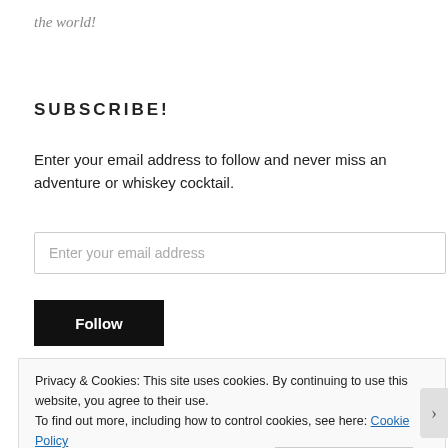the world!
SUBSCRIBE!
Enter your email address to follow and never miss an adventure or whiskey cocktail.
Enter your email address
Follow
Privacy & Cookies: This site uses cookies. By continuing to use this website, you agree to their use.
To find out more, including how to control cookies, see here: Cookie Policy
Close and accept